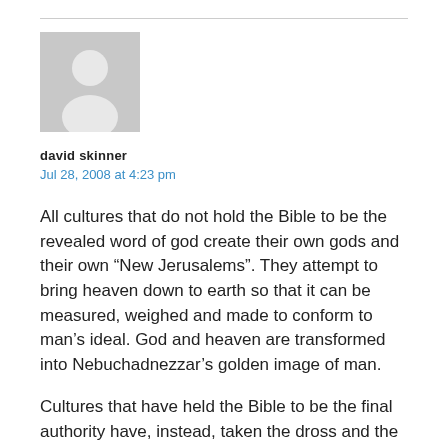[Figure (photo): Generic user avatar placeholder image — grey silhouette of a person on a light grey background]
david skinner
Jul 28, 2008 at 4:23 pm
All cultures that do not hold the Bible to be the revealed word of god create their own gods and their own “New Jerusalems”. They attempt to bring heaven down to earth so that it can be measured, weighed and made to conform to man’s ideal. God and heaven are transformed into Nebuchadnezzar’s golden image of man.
Cultures that have held the Bible to be the final authority have, instead, taken the dross and the rejected of this world and refined and transformed